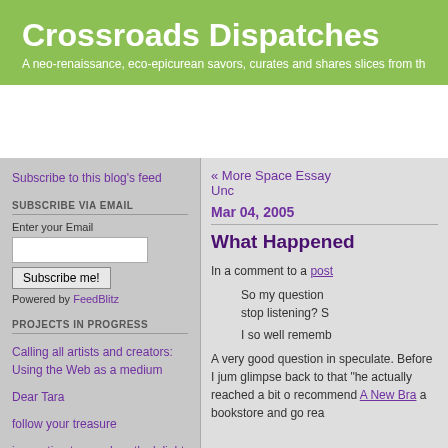Crossroads Dispatches
A neo-renaissance, eco-epicurean savors, curates and shares slices from th
Subscribe to this blog's feed
SUBSCRIBE VIA EMAIL
Enter your Email
Subscribe me!
Powered by FeedBlitz
PROJECTS IN PROGRESS
Calling all artists and creators: Using the Web as a medium
Dear Tara
follow your treasure
innovating to your heart's delight
Never-Been-There Mystery Field Trips
OTHER BLOGS
« More Space Essay
Unc
Mar 04, 2005
What Happened
In a comment to a post
So my question stop listening? S
I so well rememb
A very good question in speculate. Before I jum glimpse back to that "he actually reached a bit o recommend A New Bra a bookstore and go rea